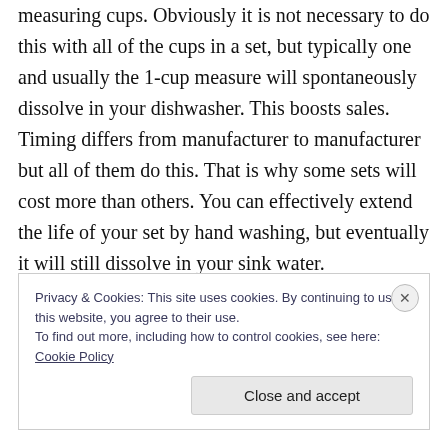measuring cups. Obviously it is not necessary to do this with all of the cups in a set, but typically one and usually the 1-cup measure will spontaneously dissolve in your dishwasher. This boosts sales. Timing differs from manufacturer to manufacturer but all of them do this. That is why some sets will cost more than others. You can effectively extend the life of your set by hand washing, but eventually it will still dissolve in your sink water.
Privacy & Cookies: This site uses cookies. By continuing to use this website, you agree to their use.
To find out more, including how to control cookies, see here: Cookie Policy